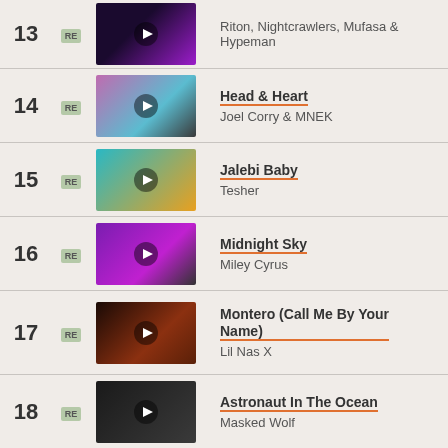13 RE — Riton, Nightcrawlers, Mufasa & Hypeman
14 RE — Head & Heart — Joel Corry & MNEK
15 RE — Jalebi Baby — Tesher
16 RE — Midnight Sky — Miley Cyrus
17 RE — Montero (Call Me By Your Name) — Lil Nas X
18 RE — Astronaut In The Ocean — Masked Wolf